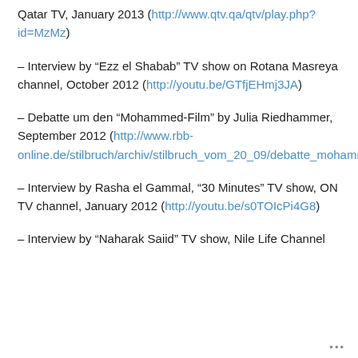Qatar TV, January 2013 (http://www.qtv.qa/qtv/play.php?id=MzMz)
– Interview by “Ezz el Shabab” TV show on Rotana Masreya channel, October 2012 (http://youtu.be/GTfjEHmj3JA)
– Debatte um den “Mohammed-Film” by Julia Riedhammer, September 2012 (http://www.rbb-online.de/stilbruch/archiv/stilbruch_vom_20_09/debatte_mohammed_film.html)
– Interview by Rasha el Gammal, “30 Minutes” TV show, ON TV channel, January 2012 (http://youtu.be/s0TOIcPi4G8)
– Interview by “Naharak Saiid” TV show, Nile Life Channel
...